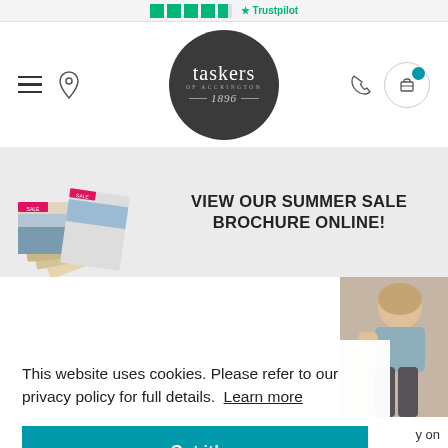Trustpilot rating strip
[Figure (logo): Taskers of Accrington logo - circular dark grey badge with company name and est. 1896]
[Figure (screenshot): Navigation bar with hamburger menu, location pin icon, Taskers logo, phone icon, and cart icon with teal notification dot]
[Figure (photo): Promotional banner with stacked brochures on left and text 'VIEW OUR SUMMER SALE BROCHURE ONLINE!' on right]
This website uses cookies. Please refer to our privacy policy for full details. Learn more
Got it!